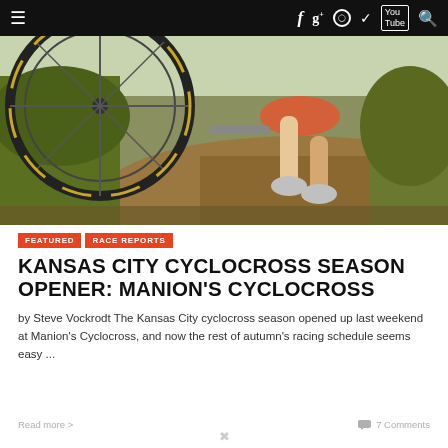≡  f  g+  ○  𝕏  YouTube  🔍
[Figure (photo): Cyclocross cyclist carrying or running with bicycle on dirt trail, close-up action shot with grass and trees in background]
FEATURED   RACE REPORTS
KANSAS CITY CYCLOCROSS SEASON OPENER: MANION'S CYCLOCROSS
by Steve Vockrodt The Kansas City cyclocross season opened up last weekend at Manion's Cyclocross, and now the rest of autumn's racing schedule seems easy ...
Read more >   7 Comments